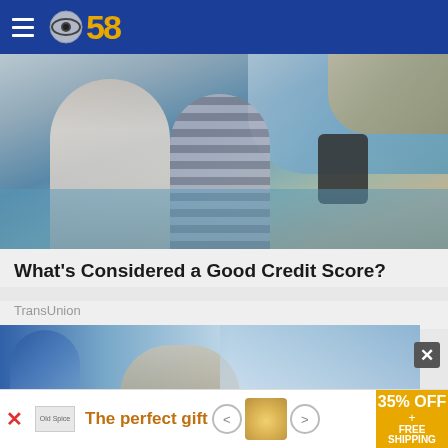CBS 58
[Figure (photo): Two people sitting outdoors near water, one looking at a smartphone, rocky cliffs in background]
What's Considered a Good Credit Score?
TransUnion
[Figure (photo): People outdoors in hats near water, blue sky background]
35% OFF + FREE SHIPPING
The perfect gift